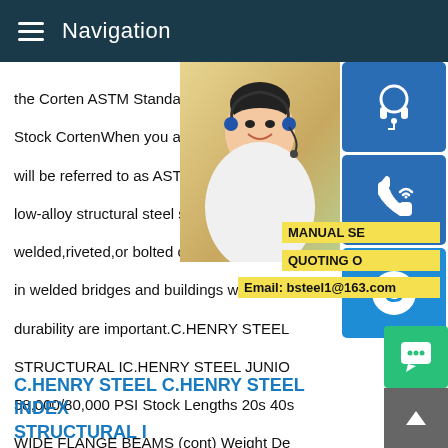Navigation
the Corten ASTM Standard Steel H Beam Stock CortenWhen you are looking to purchase will be referred to as ASTM A588.ASTM A low-alloy structural steel shapes,plates,and welded,riveted,or bolted construction but in in welded bridges and buildings where savings durability are important.C.HENRY STEEL STRUCTURAL IC.HENRY STEEL JUNIOR 58,000/80,000 PSI Stock Lengths 20s 40s WIDE FLANGE BEAMS (cont) Weight Depth Web Section Per Foot Section Width Thickness Thickness Number Pounds Inches Inches Inches Inches W 30 x 99 29 5/8 10 1/2 11/16 1/2 108 29 7/8 10 1/2 3/4 9/16
[Figure (photo): Woman with headset, customer service representative]
MANUAL SE
QUOTING O
Email: bsteel1@163.com
C.HENRY STEEL C.HENRY STEEL INDEX STRUCTURAL I